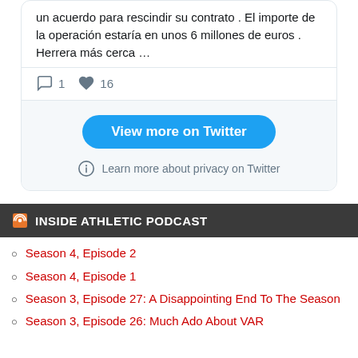un acuerdo para rescindir su contrato . El importe de la operación estaría en unos 6 millones de euros . Herrera más cerca …
1  16
View more on Twitter
Learn more about privacy on Twitter
INSIDE ATHLETIC PODCAST
Season 4, Episode 2
Season 4, Episode 1
Season 3, Episode 27: A Disappointing End To The Season
Season 3, Episode 26: Much Ado About VAR